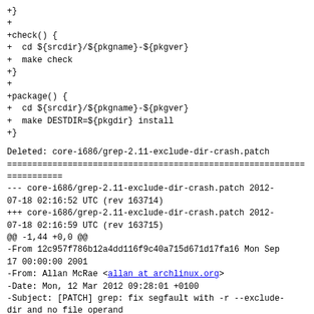+}
+
+check() {
+  cd ${srcdir}/${pkgname}-${pkgver}
+  make check
+}
+
+package() {
+  cd ${srcdir}/${pkgname}-${pkgver}
+  make DESTDIR=${pkgdir} install
+}
Deleted: core-i686/grep-2.11-exclude-dir-crash.patch
======================================================================
--- core-i686/grep-2.11-exclude-dir-crash.patch 2012-07-18 02:16:52 UTC (rev 163714)
+++ core-i686/grep-2.11-exclude-dir-crash.patch 2012-07-18 02:16:59 UTC (rev 163715)
@@ -1,44 +0,0 @@
-From 12c957f786b12a4dd116f9c40a715d671d17fa16 Mon Sep 17 00:00:00 2001
-From: Allan McRae <allan at archlinux.org>
-Date: Mon, 12 Mar 2012 09:28:01 +0100
-Subject: [PATCH] grep: fix segfault with -r --exclude-dir and no file operand
-
-* src/main.c (grepdir): Don't invoke excluded_file_name on NULL.
-* NEWS (Bug fixes): Mention it.
----